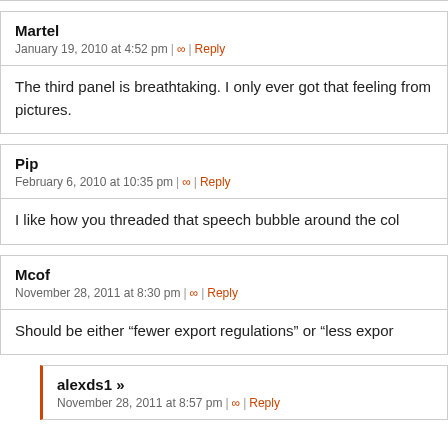Martel
January 19, 2010 at 4:52 pm | ∞ | Reply
The third panel is breathtaking. I only ever got that feeling from pictures.
Pip
February 6, 2010 at 10:35 pm | ∞ | Reply
I like how you threaded that speech bubble around the col
Mcof
November 28, 2011 at 8:30 pm | ∞ | Reply
Should be either "fewer export regulations" or "less expor
alexds1 »
November 28, 2011 at 8:57 pm | ∞ | Reply